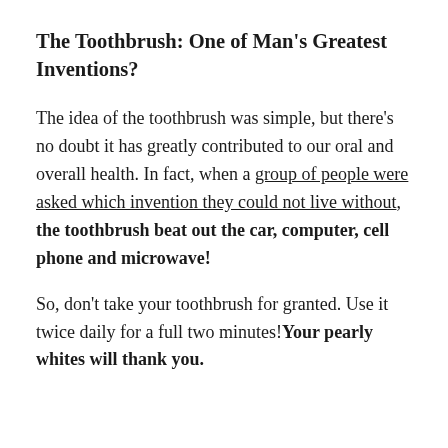The Toothbrush: One of Man's Greatest Inventions?
The idea of the toothbrush was simple, but there's no doubt it has greatly contributed to our oral and overall health. In fact, when a group of people were asked which invention they could not live without, the toothbrush beat out the car, computer, cell phone and microwave!
So, don't take your toothbrush for granted. Use it twice daily for a full two minutes! Your pearly whites will thank you.